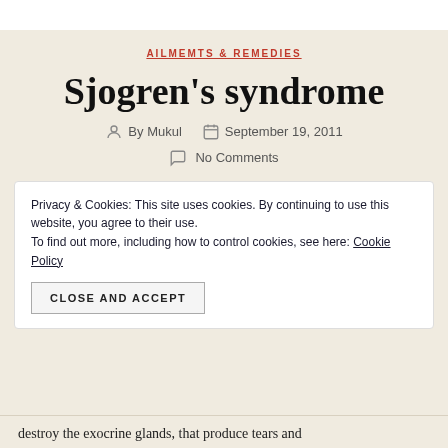AILMEMTS & REMEDIES
Sjogren's syndrome
By Mukul   September 19, 2011   No Comments
Privacy & Cookies: This site uses cookies. By continuing to use this website, you agree to their use. To find out more, including how to control cookies, see here: Cookie Policy
CLOSE AND ACCEPT
destroy the exocrine glands, that produce tears and